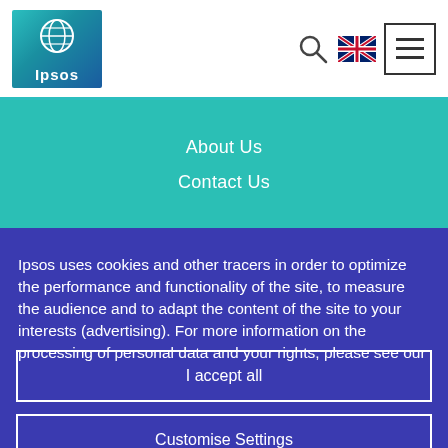[Figure (logo): Ipsos logo — teal/blue gradient box with globe icon and 'Ipsos' text]
About Us | Contact Us
Ipsos uses cookies and other tracers in order to optimize the performance and functionality of the site, to measure the audience and to adapt the content of the site to your interests (advertising). For more information on the processing of personal data and your rights, please see our
I accept all
Customise Settings